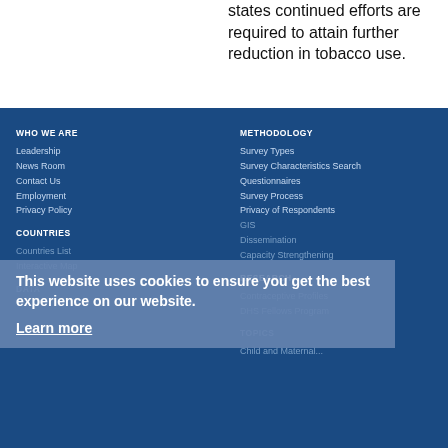states continued efforts are required to attain further reduction in tobacco use.
WHO WE ARE
Leadership
News Room
Contact Us
Employment
Privacy Policy

METHODOLOGY
Survey Types
Survey Characteristics Search
Questionnaires
Survey Process
Privacy of Respondents
GIS
Dissemination
Capacity Strengthening

COUNTRIES
Countries List
Interactive Map

RESEARCH
Contraceptive Profiles
DHS Fellows Program

DATA
TOPICS
This website uses cookies to ensure you get the best experience on our website.
Learn more
Got it!